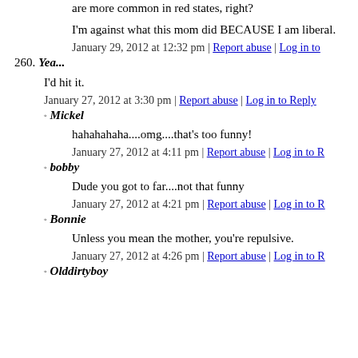are more common in red states, right?
I'm against what this mom did BECAUSE I am liberal.
January 29, 2012 at 12:32 pm | Report abuse | Log in to
260. Yea...
I'd hit it.
January 27, 2012 at 3:30 pm | Report abuse | Log in to Reply
Mickel
hahahahaha....omg....that's too funny!
January 27, 2012 at 4:11 pm | Report abuse | Log in to R
bobby
Dude you got to far....not that funny
January 27, 2012 at 4:21 pm | Report abuse | Log in to R
Bonnie
Unless you mean the mother, you're repulsive.
January 27, 2012 at 4:26 pm | Report abuse | Log in to R
Olddirtyboy